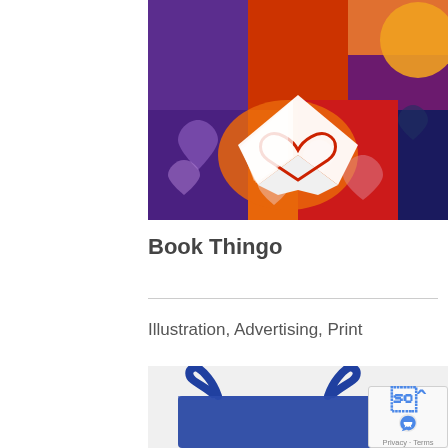[Figure (illustration): Colorful graphic with an open book forming a heart shape, on a background of squares in purple, orange, and red with heart shapes scattered throughout.]
Book Thingo
Illustration, Advertising, Print
[Figure (photo): Photo of a blue tote bag on a white/light gray background, partially visible.]